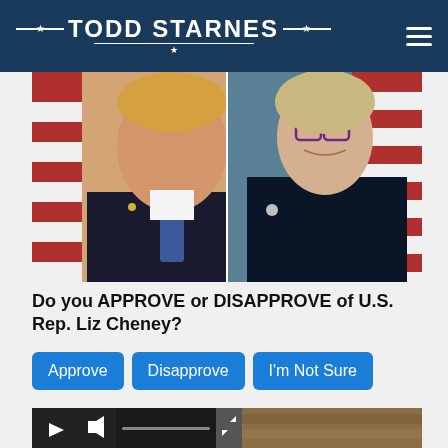TODD STARNES
[Figure (photo): Side-by-side photos of Donald Trump (left, smiling, wearing a suit with American flag pin) and Liz Cheney (right, smiling, wearing glasses and dark jacket with congressional pin), with American flags in the background.]
Do you APPROVE or DISAPPROVE of U.S. Rep. Liz Cheney?
Approve   Disapprove   I'm Not Sure
1,027 Votes
[Figure (screenshot): Video player bar at bottom with play button, sound icon, progress bar, and expand button. To the right is a partial thumbnail of a video.]